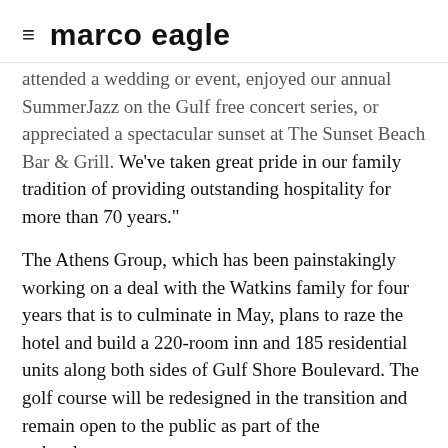≡ marco eagle
attended a wedding or event, enjoyed our annual SummerJazz on the Gulf free concert series, or appreciated a spectacular sunset at The Sunset Beach Bar & Grill. We've taken great pride in our family tradition of providing outstanding hospitality for more than 70 years."
The Athens Group, which has been painstakingly working on a deal with the Watkins family for four years that is to culminate in May, plans to raze the hotel and build a 220-room inn and 185 residential units along both sides of Gulf Shore Boulevard. The golf course will be redesigned in the transition and remain open to the public as part of the redevelopment.